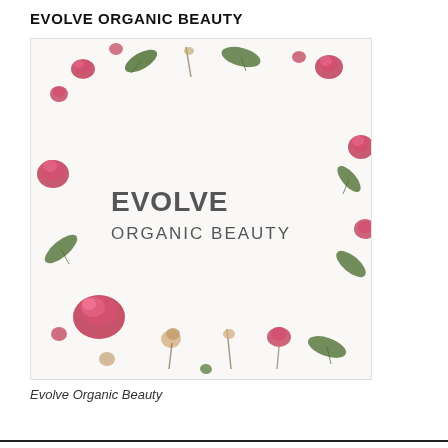EVOLVE ORGANIC BEAUTY
[Figure (photo): Flat lay photo of pink rose buds and green leaves arranged around the border of a white background. In the center-left area the brand logo reads 'EVOLVE ORGANIC BEAUTY' in dark grey text.]
Evolve Organic Beauty